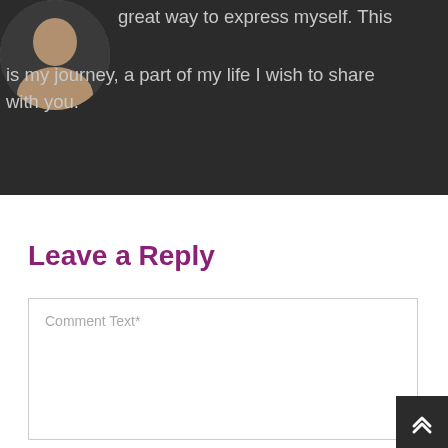great way to express myself. This is my journey, a part of my life I wish to share with you.
Leave a Reply
Comment Text*